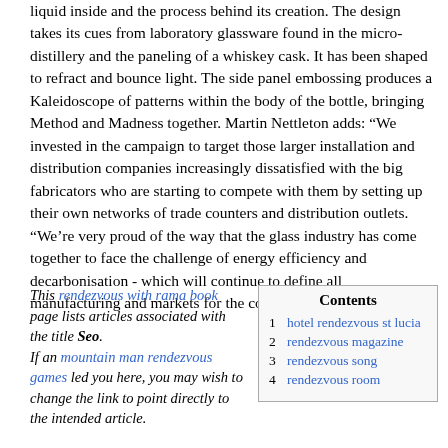liquid inside and the process behind its creation. The design takes its cues from laboratory glassware found in the micro-distillery and the paneling of a whiskey cask. It has been shaped to refract and bounce light. The side panel embossing produces a Kaleidoscope of patterns within the body of the bottle, bringing Method and Madness together. Martin Nettleton adds: “We invested in the campaign to target those larger installation and distribution companies increasingly dissatisfied with the big fabricators who are starting to compete with them by setting up their own networks of trade counters and distribution outlets. “We’re very proud of the way that the glass industry has come together to face the challenge of energy efficiency and decarbonisation - which will continue to define all manufacturing and markets for the coming decades.
This rendezvous with rama book page lists articles associated with the title Seo. If an mountain man rendezvous games led you here, you may wish to change the link to point directly to the intended article.
| Contents |
| --- |
| 1 | hotel rendezvous st lucia |
| 2 | rendezvous magazine |
| 3 | rendezvous song |
| 4 | rendezvous room |